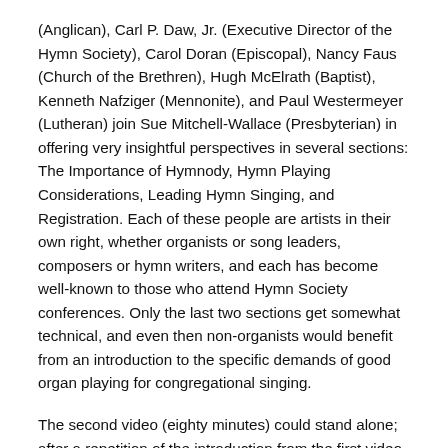(Anglican), Carl P. Daw, Jr. (Executive Director of the Hymn Society), Carol Doran (Episcopal), Nancy Faus (Church of the Brethren), Hugh McElrath (Baptist), Kenneth Nafziger (Mennonite), and Paul Westermeyer (Lutheran) join Sue Mitchell-Wallace (Presbyterian) in offering very insightful perspectives in several sections: The Importance of Hymnody, Hymn Playing Considerations, Leading Hymn Singing, and Registration. Each of these people are artists in their own right, whether organists or song leaders, composers or hymn writers, and each has become well-known to those who attend Hymn Society conferences. Only the last two sections get somewhat technical, and even then non-organists would benefit from an introduction to the specific demands of good organ playing for congregational singing.
The second video (eighty minutes) could stand alone; after a repetition of the introduction from the first video, she introduces sections on Technique. The